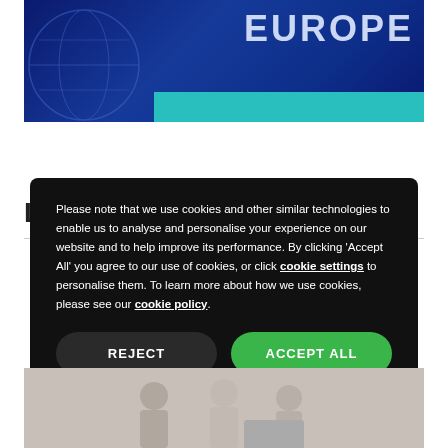[Figure (photo): Blue globe/map background image with 'EUROPE' text in white and a teal horizontal bar]
[Figure (screenshot): Cookie consent modal overlay on dark background with REJECT and ACCEPT ALL buttons]
Please note that we use cookies and other similar technologies to enable us to analyse and personalise your experience on our website and to help improve its performance. By clicking 'Accept All' you agree to our use of cookies, or click cookie settings to personalise them. To learn more about how we use cookies, please see our cookie policy.
[Figure (photo): Partial bottom image showing people with a laptop]